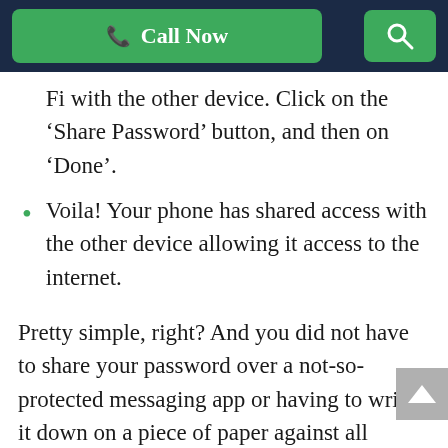Call Now
Fi with the other device. Click on the ‘Share Password’ button, and then on ‘Done’.
Voila! Your phone has shared access with the other device allowing it access to the internet.
Pretty simple, right? And you did not have to share your password over a not-so-protected messaging app or having to write it down on a piece of paper against all password protection